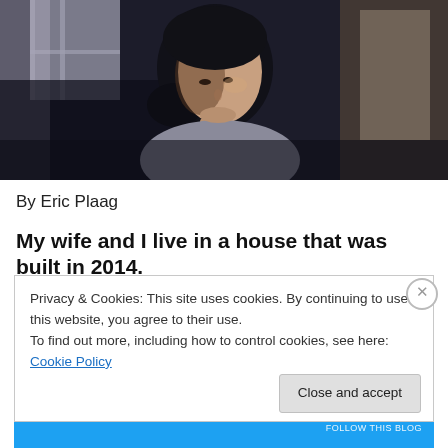[Figure (photo): A woman with dark hair pulled back, looking contemplative, sitting in a dimly lit room with curtains and a doorway visible in the background. She is wearing a light-colored top.]
By Eric Plaag
My wife and I live in a house that was built in 2014.
Privacy & Cookies: This site uses cookies. By continuing to use this website, you agree to their use.
To find out more, including how to control cookies, see here: Cookie Policy
Close and accept